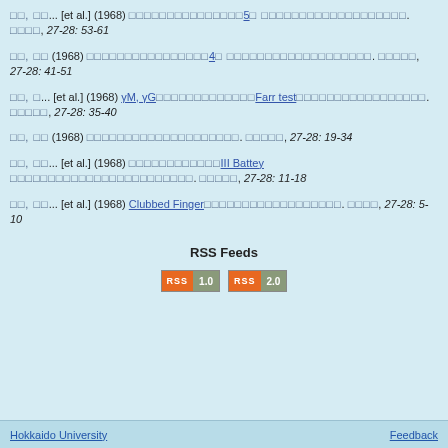□□, □□... [et al.] (1968) [link: □□□□□□□□□□□□□□□5□ □□□□□□□□□□□□□□□□□□□]. □□□□, 27-28: 53-61
□□, □□ (1968) [link: □□□□□□□□□□□□□□□□4□ □□□□□□□□□□□□□□□□□□□]. □□□□□, 27-28: 41-51
□□, □... [et al.] (1968) [link: γM, γG□□□□□□□□□□□□□Farr test□□□□□□□□□□□□□□□□□]. □□□□□, 27-28: 35-40
□□, □□ (1968) [link: □□□□□□□□□□□□□□□□□□□□]. □□□□□, 27-28: 19-34
□□, □□... [et al.] (1968) [link: □□□□□□□□□□□□III Battey□□□□□□□□□□□□□□□□□□□□□□□□]. □□□□□, 27-28: 11-18
□□, □□... [et al.] (1968) [link: Clubbed Finger□□□□□□□□□□□□□□□□□□]. □□□□, 27-28: 5-10
RSS Feeds
[Figure (other): RSS 1.0 and RSS 2.0 feed buttons]
Hokkaido University    Feedback